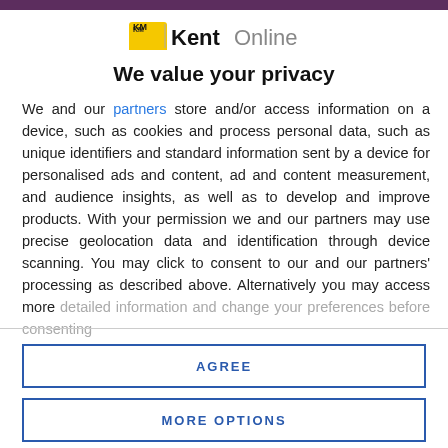[Figure (logo): KM KentOnline logo with yellow KM badge and grey 'KentOnline' wordmark]
We value your privacy
We and our partners store and/or access information on a device, such as cookies and process personal data, such as unique identifiers and standard information sent by a device for personalised ads and content, ad and content measurement, and audience insights, as well as to develop and improve products. With your permission we and our partners may use precise geolocation data and identification through device scanning. You may click to consent to our and our partners' processing as described above. Alternatively you may access more detailed information and change your preferences before consenting
AGREE
MORE OPTIONS